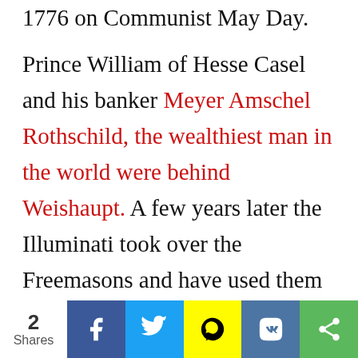1776 on Communist May Day. Prince William of Hesse Casel and his banker Meyer Amschel Rothschild, the wealthiest man in the world were behind Weishaupt. A few years later the Illuminati took over the Freemasons and have used them to manipulate world events ever since. "The Protocols of the Elders of Zion" is
2 Shares | Share buttons: Facebook, Twitter, Snapchat, VK, Share